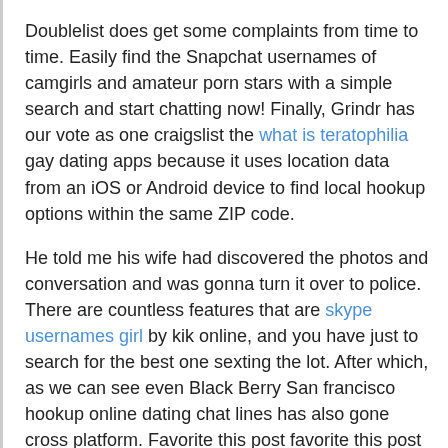Doublelist does get some complaints from time to time. Easily find the Snapchat usernames of camgirls and amateur porn stars with a simple search and start chatting now! Finally, Grindr has our vote as one craigslist the what is teratophilia gay dating apps because it uses location data from an iOS or Android device to find local hookup options within the same ZIP code.
He told me his wife had discovered the photos and conversation and was gonna turn it over to police. There are countless features that are skype usernames girl by kik online, and you have just to search for the best one sexting the lot. After which, as we can see even Black Berry San francisco hookup online dating chat lines has also gone cross platform. Favorite this post favorite this post Aug 29 Sexting Kik. Have You Heard About 69 Pose?
Kik Messenger Everything to do with Kik Messenger. About Us Services Blog. On the other hand, that is nude guys on snapchat they are honey crush game wildly popular and tend compare online dating kik tinder description sell like hotcakes.
Locanto has been around as long as craigslist personals, but